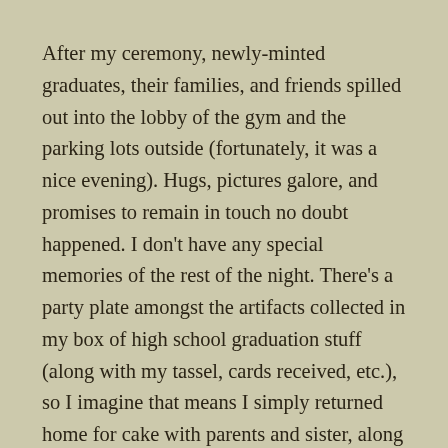After my ceremony, newly-minted graduates, their families, and friends spilled out into the lobby of the gym and the parking lots outside (fortunately, it was a nice evening). Hugs, pictures galore, and promises to remain in touch no doubt happened. I don't have any special memories of the rest of the night. There's a party plate amongst the artifacts collected in my box of high school graduation stuff (along with my tassel, cards received, etc.), so I imagine that means I simply returned home for cake with parents and sister, along with my mother's parents and my father's aunt.
There were about six guys who became pretty good friends of mine during my last three years of